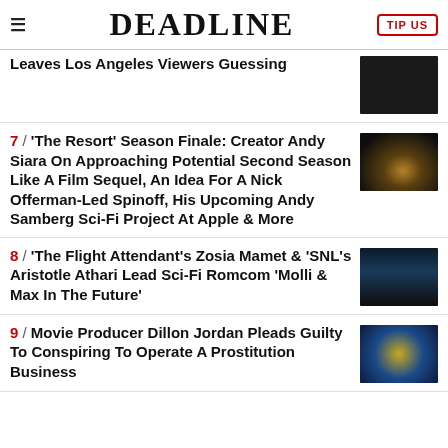DEADLINE
Leaves Los Angeles Viewers Guessing
7 / 'The Resort' Season Finale: Creator Andy Siara On Approaching Potential Second Season Like A Film Sequel, An Idea For A Nick Offerman-Led Spinoff, His Upcoming Andy Samberg Sci-Fi Project At Apple & More
8 / 'The Flight Attendant's Zosia Mamet & 'SNL's Aristotle Athari Lead Sci-Fi Romcom 'Molli & Max In The Future'
9 / Movie Producer Dillon Jordan Pleads Guilty To Conspiring To Operate A Prostitution Business